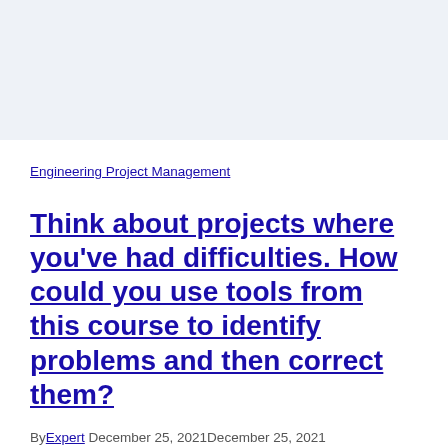Engineering Project Management
Think about projects where you've had difficulties. How could you use tools from this course to identify problems and then correct them?
By Expert December 25, 2021December 25, 2021